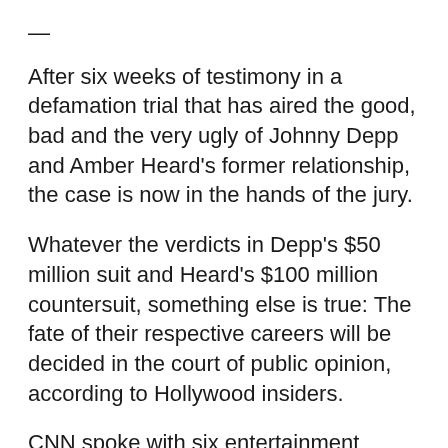—
After six weeks of testimony in a defamation trial that has aired the good, bad and the very ugly of Johnny Depp and Amber Heard's former relationship, the case is now in the hands of the jury.
Whatever the verdicts in Depp's $50 million suit and Heard's $100 million countersuit, something else is true: The fate of their respective careers will be decided in the court of public opinion, according to Hollywood insiders.
CNN spoke with six entertainment industry experts for this story, some of whom spoke on background to protect professional relationships.
Whether fair or unfair, the wave of support Depp